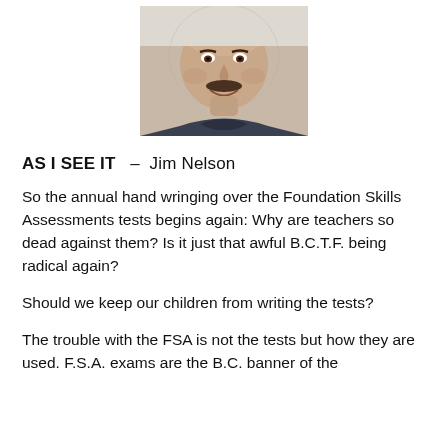[Figure (photo): Headshot photo of Jim Nelson, a smiling middle-aged man with a mustache wearing a dark shirt]
AS I SEE IT  –  Jim Nelson
So the annual hand wringing over the Foundation Skills Assessments tests begins again: Why are teachers so dead against them? Is it just that awful B.C.T.F. being radical again?
Should we keep our children from writing the tests?
The trouble with the FSA is not the tests but how they are used. F.S.A. exams are the B.C. banner of the